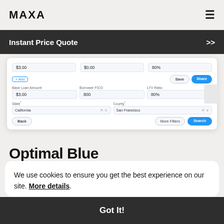MAXA
Instant Price Quote >>
[Figure (screenshot): App interface screenshot showing a mortgage/loan price quote form with fields for Base Loan Amount ($3.00), Borrower FICO (800), LTV Ratio (80%), State (California), County (San Francisco), with More Filters and Search buttons]
Optimal Blue
We use cookies to ensure you get the best experience on our site. More details.
Got It!